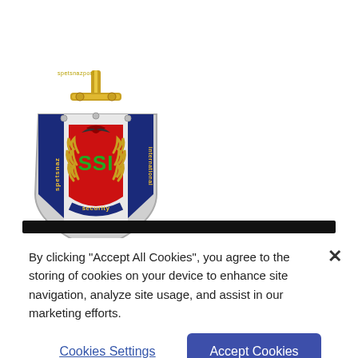[Figure (logo): Spetsnaz Security International (SSI) shield logo with sword, eagle, laurel wreath, and SSI text in green on red background. Text 'spetsnaz' on left banner, 'international' on right banner, 'security' at bottom.]
By clicking “Accept All Cookies”, you agree to the storing of cookies on your device to enhance site navigation, analyze site usage, and assist in our marketing efforts.
Cookies Settings
Accept Cookies